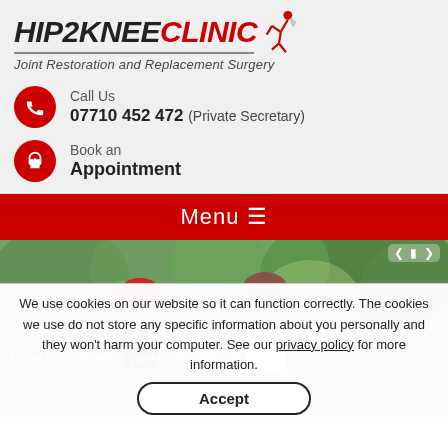[Figure (logo): Hip2Knee Clinic logo with red figure icon and tagline 'Joint Restoration and Replacement Surgery']
Call Us
07710 452 472 (Private Secretary)
Book an
Appointment
Menu ☰
[Figure (photo): Two people wearing bicycle helmets cycling outdoors with green trees in background]
Home / Appointment / General Appointment
GENERAL APPOINTMENT
We use cookies on our website so it can function correctly. The cookies we use do not store any specific information about you personally and they won't harm your computer. See our privacy policy for more information.
Accept